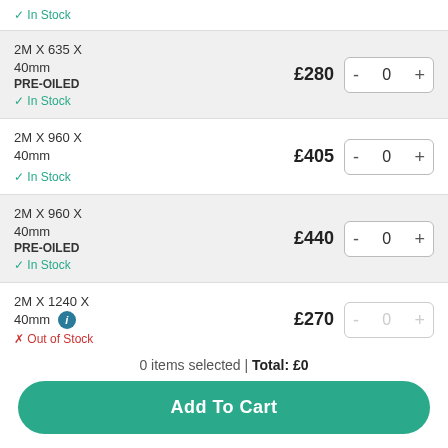✓ In Stock (partial row at top)
2M X 635 X 40mm PRE-OILED — £280 — 0 — ✓ In Stock
2M X 960 X 40mm — £405 — 0 — ✓ In Stock
2M X 960 X 40mm PRE-OILED — £440 — 0 — ✓ In Stock
2M X 1240 X 40mm ℹ — £270 — 0 — × Out of Stock
3M X 635 X 40mm — £275 — 0
0 items selected | Total: £0
Add To Cart